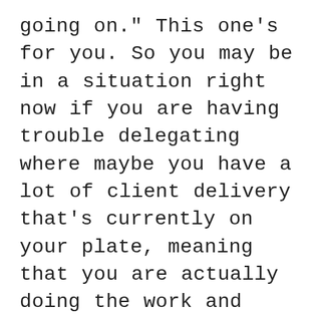going on." This one's for you. So you may be in a situation right now if you are having trouble delegating where maybe you have a lot of client delivery that's currently on your plate, meaning that you are actually doing the work and working on the deliverables that you're promising to your clients in your agreements, and you're struggling to delegate those out to team members. And maybe it feels like a lot to be able to get external support because there's some things that go into getting support and making it work right. There's creating standard operating procedures. There's going through hiring